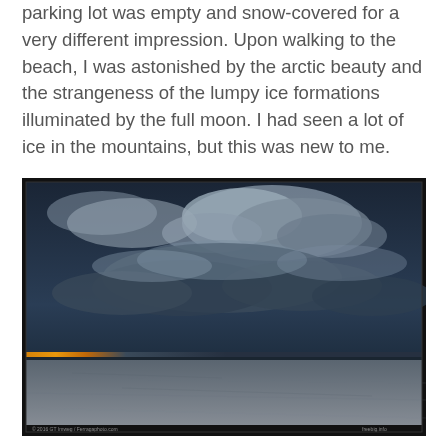parking lot was empty and snow-covered for a very different impression. Upon walking to the beach, I was astonished by the arctic beauty and the strangeness of the lumpy ice formations illuminated by the full moon. I had seen a lot of ice in the mountains, but this was new to me.
[Figure (photo): A nighttime or twilight photograph of a frozen beach scene. The sky is predominantly dark blue with dramatic clouds. A thin strip of orange-yellow glow sits on the horizon at lower left, representing sunset or moonrise light. The foreground shows a flat, snow-and-ice covered beach surface. A small watermark/credit text appears at the bottom left and bottom right corners.]